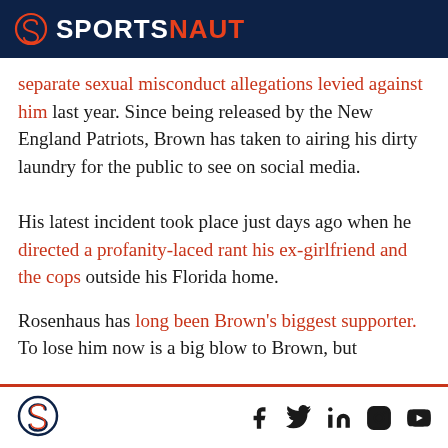SPORTSNAUT
separate sexual misconduct allegations levied against him last year. Since being released by the New England Patriots, Brown has taken to airing his dirty laundry for the public to see on social media.
His latest incident took place just days ago when he directed a profanity-laced rant his ex-girlfriend and the cops outside his Florida home.
Rosenhaus has long been Brown's biggest supporter. To lose him now is a big blow to Brown, but
Sportsnaut logo and social media icons: Facebook, Twitter, LinkedIn, Instagram, YouTube